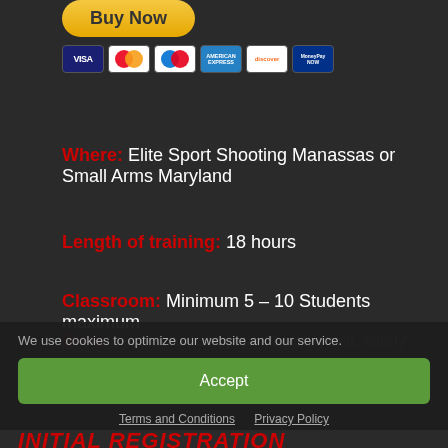[Figure (other): Buy Now button with PayPal-style yellow rounded button and payment card icons (Visa, Mastercard, Maestro, Amex, Discover, MoneyPay)]
Where: Elite Sport Shooting Manassas or Small Arms Maryland
Length of training: 18 hours
Classroom: Minimum 5 – 10 Students maximum
Bring: semi-automatic pistol, holster, belt, safety glasses, ear protection, hard-toe boots or sneakers, t-shirt, funny bag, jacket, and long pants.
We use cookies to optimize our website and our service.
Accept
Terms and Conditions   Privacy Policy
INITIAL REGISTRATION